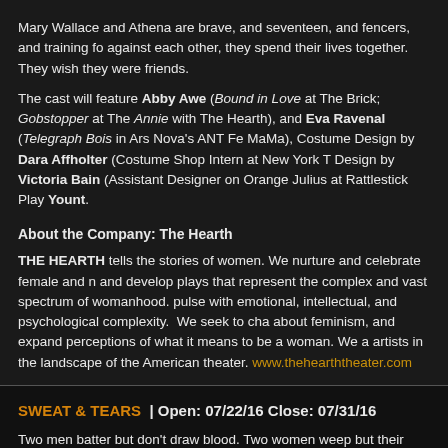Mary Wallace and Athena are brave, and seventeen, and fencers, and training for against each other, they spend their lives together. They wish they were friends.
The cast will feature Abby Awe (Bound in Love at The Brick; Gobstopper at The Annie with The Hearth), and Eva Ravenal (Telegraph Bois in Ars Nova's ANT Fe MaMa), Costume Design by Dara Affholter (Costume Shop Intern at New York T Design by Victoria Bain (Assistant Designer on Orange Julius at Rattlestick Play Yount.
About the Company: The Hearth
THE HEARTH tells the stories of women. We nurture and celebrate female and n and develop plays that represent the complex and vast spectrum of womanhood. pulse with emotional, intellectual, and psychological complexity. We seek to cha about feminism, and expand perceptions of what it means to be a woman. We a artists in the landscape of the American theater. www.thehearththeater.com
SWEAT & TEARS | Open: 07/22/16 Close: 07/31/16
Two men batter but don't draw blood. Two women weep but their faces stay dry. emotions are enacted not experienced? What makes the fake?
James and Jess are in a relationship. They both cry. She hits things more than h